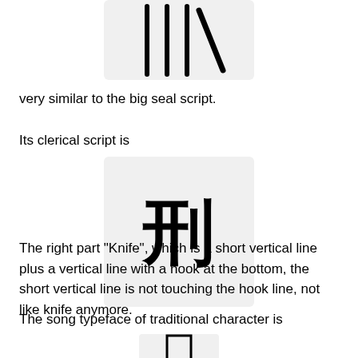[Figure (illustration): Chinese character in big seal script style — vertical strokes with diagonal slash — shown in a light gray rounded box, cropped at top]
very similar to the big seal script.
Its clerical script is
[Figure (illustration): Chinese character 刑 in clerical script style, shown in a light gray rounded box]
The right part "Knife", which is a short vertical line plus a vertical line with a hook at the bottom, the short vertical line is not touching the hook line, not like knife anymore.
The song typeface of traditional character is
[Figure (illustration): Partial Chinese character in song typeface, shown in a light gray rounded box, cropped at bottom]